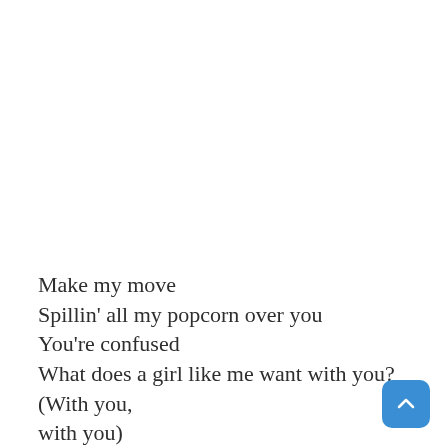Make my move
Spillin' all my popcorn over you
You're confused
What does a girl like me want with you? (With you, with you)